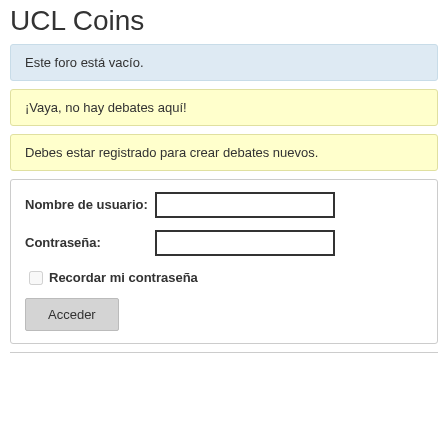UCL Coins
Este foro está vacío.
¡Vaya, no hay debates aquí!
Debes estar registrado para crear debates nuevos.
Nombre de usuario: [input] Contraseña: [input] Recordar mi contraseña [checkbox] Acceder [button]